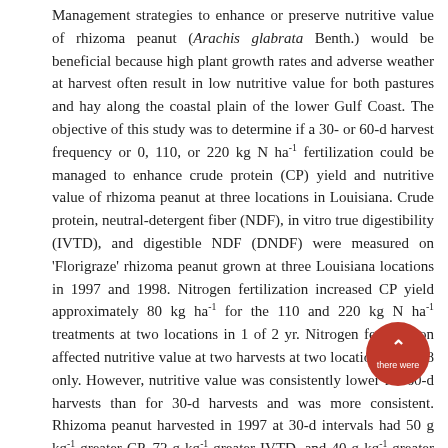Management strategies to enhance or preserve nutritive value of rhizoma peanut (Arachis glabrata Benth.) would be beneficial because high plant growth rates and adverse weather at harvest often result in low nutritive value for both pastures and hay along the coastal plain of the lower Gulf Coast. The objective of this study was to determine if a 30- or 60-d harvest frequency or 0, 110, or 220 kg N ha⁻¹ fertilization could be managed to enhance crude protein (CP) yield and nutritive value of rhizoma peanut at three locations in Louisiana. Crude protein, neutral-detergent fiber (NDF), in vitro true digestibility (IVTD), and digestible NDF (DNDF) were measured on 'Florigraze' rhizoma peanut grown at three Louisiana locations in 1997 and 1998. Nitrogen fertilization increased CP yield approximately 80 kg ha⁻¹ for the 110 and 220 kg N ha⁻¹ treatments at two locations in 1 of 2 yr. Nitrogen fertilization affected nutritive value at two harvests at two locations in 1998 only. However, nutritive value was consistently lower for 60-d harvests than for 30-d harvests and was more consistent. Rhizoma peanut harvested in 1997 at 30-d intervals had 50 g kg⁻¹ greater CP, 72 g kg⁻¹ greater IVTD, and 40 g kg⁻¹ greater DNDF coupled with 80 g kg⁻¹ lower NDF than rhizoma peanut harvested at 60-d intervals. Likewise, there were seasonal influences on nutritive value. Responses in CP yield and nutritive value observed in this study were influenced more by